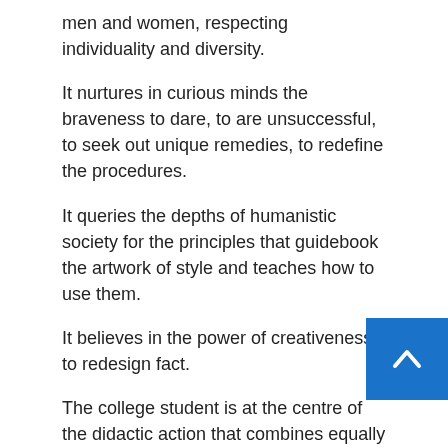men and women, respecting individuality and diversity.
It nurtures in curious minds the braveness to dare, to are unsuccessful, to seek out unique remedies, to redefine the procedures.
It queries the depths of humanistic society for the principles that guidebook the artwork of style and teaches how to use them.
It believes in the power of creativeness to redesign fact.
The college student is at the centre of the didactic action that combines equally a cultural and realistic approach.
The study software concludes with the student's thesis challenge as well as a group a single, aimed at the creation of a portfolio that becomes the passport to enter the specialist function location.